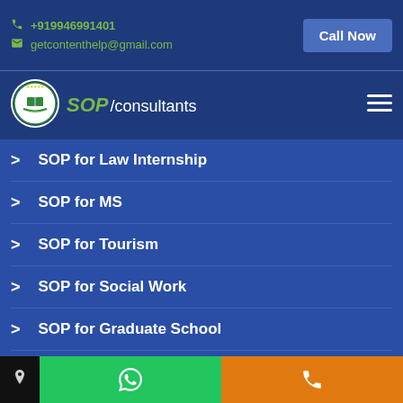+919946991401 | getcontenthelp@gmail.com | Call Now
[Figure (logo): SOP Consultants logo with open book and stars in a green circle]
SOP for Law Internship
SOP for MS
SOP for Tourism
SOP for Social Work
SOP for Graduate School
SOP for Phd
WhatsApp | Call